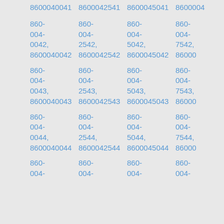8600040041 8600042541 8600045041 8600047541
860-004-0042, 8600040042
860-004-2542, 8600042542
860-004-5042, 8600045042
860-004-7542, 8600047542
860-004-0043, 8600040043
860-004-2543, 8600042543
860-004-5043, 8600045043
860-004-7543, 8600047543
860-004-0044, 8600040044
860-004-2544, 8600042544
860-004-5044, 8600045044
860-004-7544, 8600047544
860-004-
860-004-
860-004-
860-004-